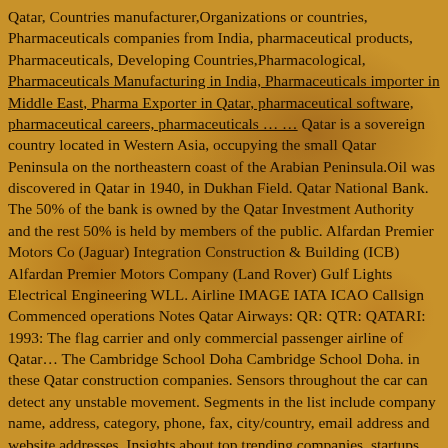Qatar, Countries manufacturer,Organizations or countries, Pharmaceuticals companies from India, pharmaceutical products, Pharmaceuticals, Developing Countries,Pharmacological, Pharmaceuticals Manufacturing in India, Pharmaceuticals importer in Middle East, Pharma Exporter in Qatar, pharmaceutical software, pharmaceutical careers, pharmaceuticals … … Qatar is a sovereign country located in Western Asia, occupying the small Qatar Peninsula on the northeastern coast of the Arabian Peninsula.Oil was discovered in Qatar in 1940, in Dukhan Field. Qatar National Bank. The 50% of the bank is owned by the Qatar Investment Authority and the rest 50% is held by members of the public. Alfardan Premier Motors Co (Jaguar) Integration Construction & Building (ICB) Alfardan Premier Motors Company (Land Rover) Gulf Lights Electrical Engineering WLL. Airline IMAGE IATA ICAO Callsign Commenced operations Notes Qatar Airways: QR: QTR: QATARI: 1993: The flag carrier and only commercial passenger airline of Qatar… The Cambridge School Doha Cambridge School Doha. in these Qatar construction companies. Sensors throughout the car can detect any unstable movement. Segments in the list include company name, address, category, phone, fax, city/country, email address and website addresses. Insights about top trending companies, startups, investments and M&A. READ MORE. [1] The discovery transformed the state's economy. Qatpedia is a dedicated online market place listing companies in Qatar, We provide